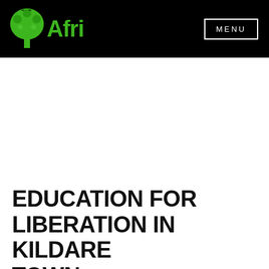Afri — MENU
EDUCATION FOR LIBERATION IN KILDARE TOWN